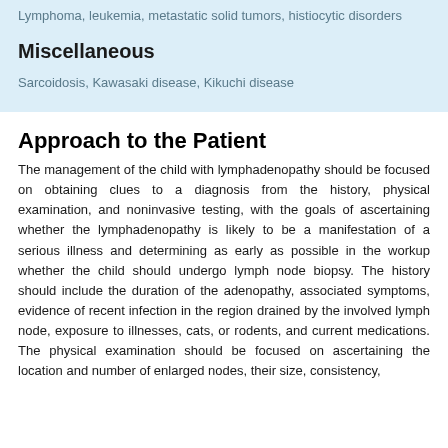Lymphoma, leukemia, metastatic solid tumors, histiocytic disorders
Miscellaneous
Sarcoidosis, Kawasaki disease, Kikuchi disease
Approach to the Patient
The management of the child with lymphadenopathy should be focused on obtaining clues to a diagnosis from the history, physical examination, and noninvasive testing, with the goals of ascertaining whether the lymphadenopathy is likely to be a manifestation of a serious illness and determining as early as possible in the workup whether the child should undergo lymph node biopsy. The history should include the duration of the adenopathy, associated symptoms, evidence of recent infection in the region drained by the involved lymph node, exposure to illnesses, cats, or rodents, and current medications. The physical examination should be focused on ascertaining the location and number of enlarged nodes, their size, consistency,